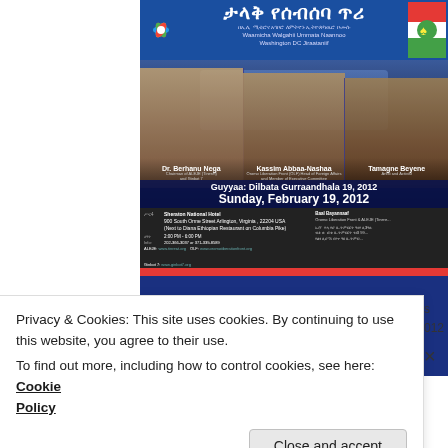[Figure (photo): Event promotion poster for a community meeting featuring three speakers (Dr. Berhanu Nega, Kassim Abbaa-Nashaa, Tamagne Beyene) with Amharic and Oromo text, date Sunday February 19 2012, venue Sheraton National Hotel Arlington Virginia.]
Privacy & Cookies: This site uses cookies. By continuing to use this website, you agree to their use.
To find out more, including how to control cookies, see here: Cookie Policy
Close and accept